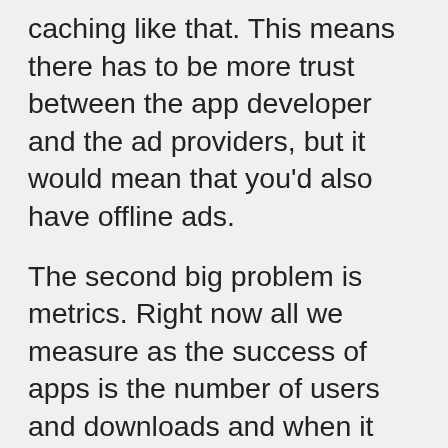caching like that. This means there has to be more trust between the app developer and the ad providers, but it would mean that you'd also have offline ads.
The second big problem is metrics. Right now all we measure as the success of apps is the number of users and downloads and when it comes to banners of course the number of clicks. This means of course that free apps will always be deemed much more successful than the ones that ask for payment upfront. So seeing the issues with free apps maybe it is time to reconsider how we measure the success of apps and get less excited about playing the number game.